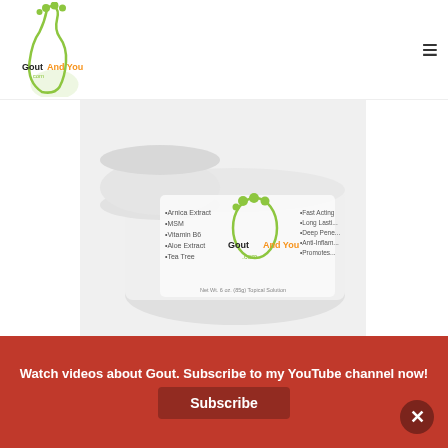Gout And You .com — navigation header with logo and hamburger menu
[Figure (photo): White tub/jar of Gout And You .com topical solution product with green foot logo, showing ingredients on the label including Arnica Extract, MSM, Vitamin B6, Aloe Extract, Tea Tree]
[Figure (other): Teal/cyan call-to-action banner with yellow Buy Now button]
Watch videos about Gout. Subscribe to my YouTube channel now!
Subscribe